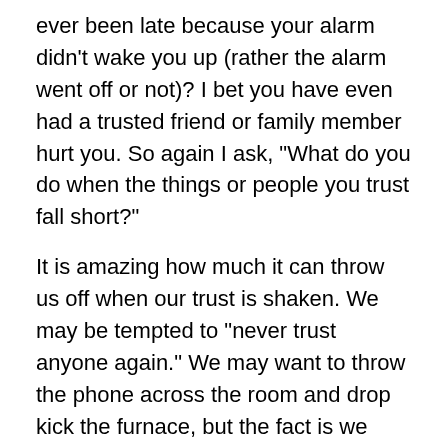ever been late because your alarm didn’t wake you up (rather the alarm went off or not)? I bet you have even had a trusted friend or family member hurt you. So again I ask, “What do you do when the things or people you trust fall short?”
It is amazing how much it can throw us off when our trust is shaken. We may be tempted to “never trust anyone again.” We may want to throw the phone across the room and drop kick the furnace, but the fact is we knew these would eventually let us down. As we go through life we learn that all things, people included, fall short. Romans 3:23 says, “All have sinned and fall short of the glory of God” This sounds like terrible news and in many ways it is, but there is good news as well. There is One that always has been, always will be, and He does NOT fail. Psalm 115...